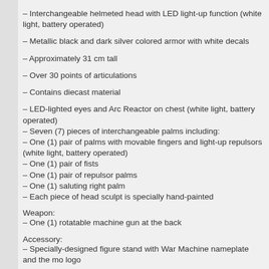– Interchangeable helmeted head with LED light-up function (white light, battery operated)
– Metallic black and dark silver colored armor with white decals
– Approximately 31 cm tall
– Over 30 points of articulations
– Contains diecast material
– LED-lighted eyes and Arc Reactor on chest (white light, battery operated)
– Seven (7) pieces of interchangeable palms including:
– One (1) pair of palms with movable fingers and light-up repulsors (white light, battery operated)
– One (1) pair of fists
– One (1) pair of repulsor palms
– One (1) saluting right palm
– Each piece of head sculpt is specially hand-painted
Weapon:
– One (1) rotatable machine gun at the back
Accessory:
– Specially-designed figure stand with War Machine nameplate and the mo logo